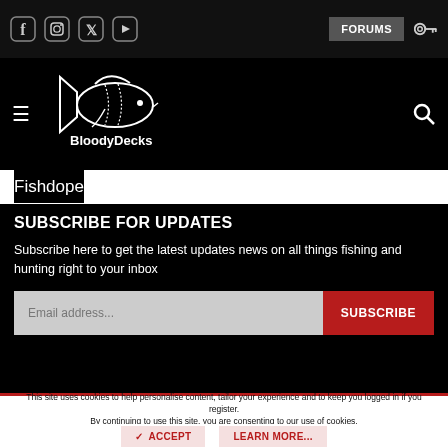FORUMS
[Figure (logo): BloodyDecks website logo with fish graphic and text]
Fishdope
SUBSCRIBE FOR UPDATES
Subscribe here to get the latest updates news on all things fishing and hunting right to your inbox
Email address...
This site uses cookies to help personalise content, tailor your experience and to keep you logged in if you register.
By continuing to use this site, you are consenting to our use of cookies.
ACCEPT
LEARN MORE...